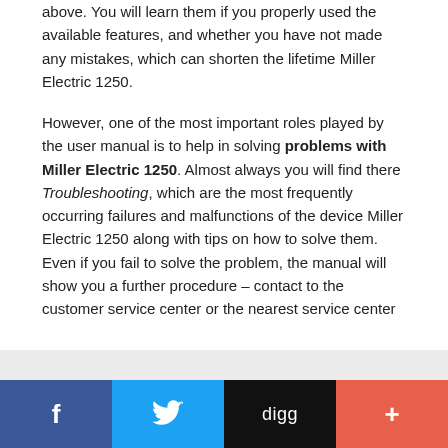above. You will learn them if you properly used the available features, and whether you have not made any mistakes, which can shorten the lifetime Miller Electric 1250.
However, one of the most important roles played by the user manual is to help in solving problems with Miller Electric 1250. Almost always you will find there Troubleshooting, which are the most frequently occurring failures and malfunctions of the device Miller Electric 1250 along with tips on how to solve them. Even if you fail to solve the problem, the manual will show you a further procedure – contact to the customer service center or the nearest service center
Other manuals from the category Welder
[Figure (infographic): Social sharing bar with four buttons: Facebook (blue), Twitter (light blue), Digg (black), and a plus/add button (orange-red)]